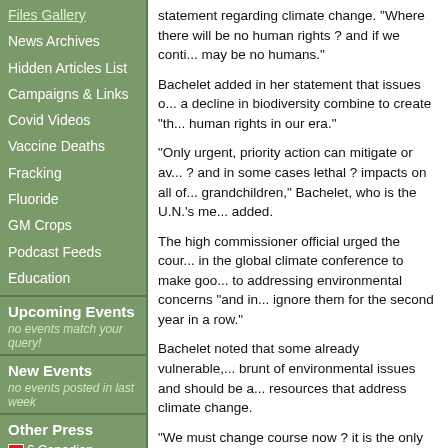Files Gallery
News Archives
Hidden Articles List
Campaigns & Links
Covid Videos
Vaccine Deaths
Fracking
Fluoride
GM Crops
Podcast Feeds
Education
Upcoming Events
no events match your query!
New Events
no events posted in last week
Other Press
6 Canadian Medical Doctors Died Within 2 Weeks After 4th COVID
statement regarding climate change. "Where there will be no human rights ? and if we cont... may be no humans."
Bachelet added in her statement that issues of... a decline in biodiversity combine to create "the... human rights in our era."
"Only urgent, priority action can mitigate or av... ? and in some cases lethal ? impacts on all of... grandchildren," Bachelet, who is the U.N.'s me... added.
The high commissioner official urged the cour... in the global climate conference to make good... to addressing environmental concerns "and in... ignore them for the second year in a row."
Bachelet noted that some already vulnerable,... brunt of environmental issues and should be a... resources that address climate change.
"We must change course now ? it is the only c... humanity," she also said.
Bachelet's remarks come just days before the... begin in Glasgow on Sunday. President Biden... nearly 200 other countries will gather for the m... change.
https://www.everything.ie/kilkenny/drive-kilkenn...